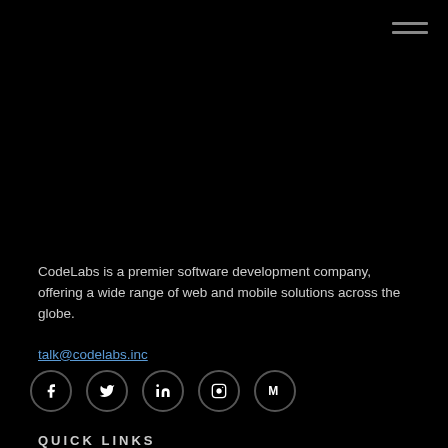[Figure (other): Hamburger menu icon (three horizontal lines) in top-right corner]
CodeLabs is a premier software development company, offering a wide range of web and mobile solutions across the globe.
talk@codelabs.inc
[Figure (other): Social media icons: Facebook, Twitter, LinkedIn, Instagram, Medium]
QUICK LINKS